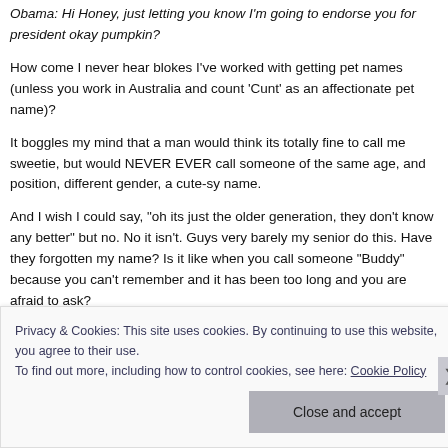Obama: Hi Honey, just letting you know I'm going to endorse you for president okay pumpkin?
How come I never hear blokes I've worked with getting pet names (unless you work in Australia and count 'Cunt' as an affectionate pet name)?
It boggles my mind that a man would think its totally fine to call me sweetie, but would NEVER EVER call someone of the same age, and position, different gender, a cute-sy name.
And I wish I could say, "oh its just the older generation, they don't know any better" but no. No it isn't. Guys very barely my senior do this. Have they forgotten my name? Is it like when you call someone "Buddy" because you can't remember and it has been too long and you are afraid to ask?
Privacy & Cookies: This site uses cookies. By continuing to use this website, you agree to their use. To find out more, including how to control cookies, see here: Cookie Policy
Close and accept